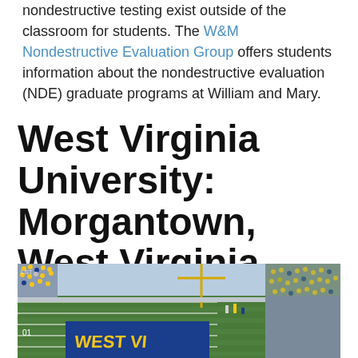nondestructive testing exist outside of the classroom for students. The W&M Nondestructive Evaluation Group offers students information about the nondestructive evaluation (NDE) graduate programs at William and Mary.
West Virginia University: Morgantown, West Virginia
[Figure (photo): Aerial view of a college football stadium with blue end zone reading 'WEST VIR', green field with white yard lines, surrounded by crowds in yellow and blue clothing in stands.]